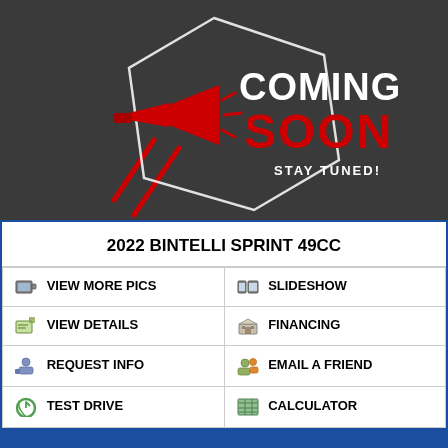[Figure (illustration): Coming Soon – Stay Tuned! banner with a red megaphone icon on a dark gray background, white hexagon outline, red diagonal accent lines, bold white text 'COMING SOON' and red stylized text 'SOON', smaller text 'STAY TUNED!']
2022 BINTELLI SPRINT 49CC
| 📷 VIEW MORE PICS | 🖼 SLIDESHOW |
| 📋 VIEW DETAILS | 🏦 FINANCING |
| 👤 REQUEST INFO | ✉ EMAIL A FRIEND |
| 🔄 TEST DRIVE | 📊 CALCULATOR |